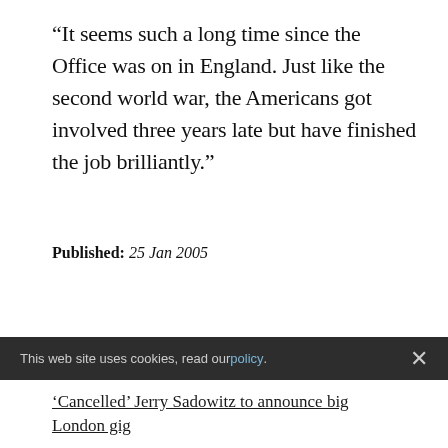“It seems such a long time since the Office was on in England. Just like the second world war, the Americans got involved three years late but have finished the job brilliantly.”
Published: 25 Jan 2005
Share this page
This web site uses cookies, read our policy.
'Cancelled' Jerry Sadowitz to announce big London gig